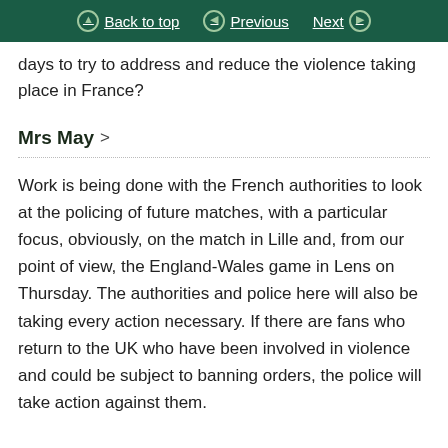Back to top  Previous  Next
days to try to address and reduce the violence taking place in France?
Mrs May >
Work is being done with the French authorities to look at the policing of future matches, with a particular focus, obviously, on the match in Lille and, from our point of view, the England-Wales game in Lens on Thursday. The authorities and police here will also be taking every action necessary. If there are fans who return to the UK who have been involved in violence and could be subject to banning orders, the police will take action against them.